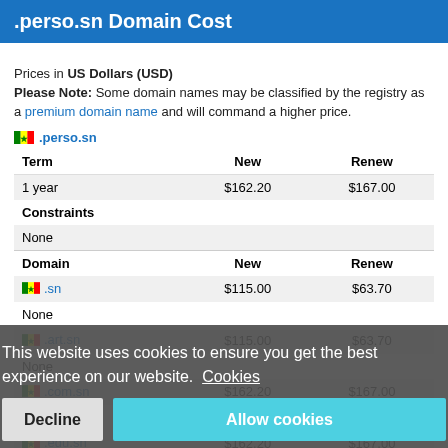.perso.sn Domain Cost
Prices in US Dollars (USD)
Please Note: Some domain names may be classified by the registry as a premium domain name and will command a higher price.
| Term | New | Renew |
| --- | --- | --- |
| 1 year | $162.20 | $167.00 |
| Constraints |  |  |
| None |  |  |
| Domain | New | Renew |
| .sn | $115.00 | $63.70 |
| None |  |  |
| .art.sn | $115.00 | $63.70 |
| None |  |  |
| .com.sn | $162.20 | $167.00 |
| None |  |  |
| .edu.sn | $162.20 | $167.00 |
| None |  |  |
| .gov.sn | $162.20 | $167.00 |
| Registration is restricted to Senegal government departments and organisations. |  |  |
| .org.sn | $115.00 | $63.70 |
This website uses cookies to ensure you get the best experience on our website. Cookies
Decline  Allow cookies